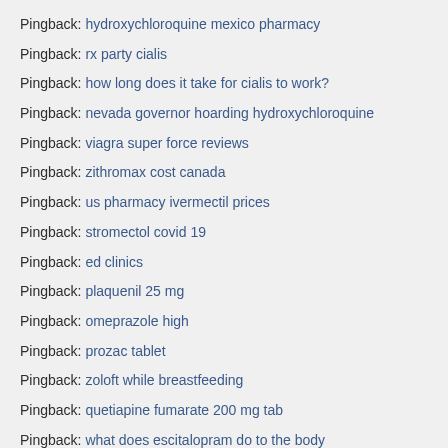Pingback: hydroxychloroquine mexico pharmacy
Pingback: rx party cialis
Pingback: how long does it take for cialis to work?
Pingback: nevada governor hoarding hydroxychloroquine
Pingback: viagra super force reviews
Pingback: zithromax cost canada
Pingback: us pharmacy ivermectil prices
Pingback: stromectol covid 19
Pingback: ed clinics
Pingback: plaquenil 25 mg
Pingback: omeprazole high
Pingback: prozac tablet
Pingback: zoloft while breastfeeding
Pingback: quetiapine fumarate 200 mg tab
Pingback: what does escitalopram do to the body
Pingback: medication from canada prices
Pingback: lyrica 75 mg street value
Pingback: [partially visible]